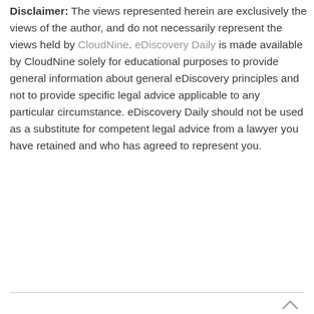Disclaimer: The views represented herein are exclusively the views of the author, and do not necessarily represent the views held by CloudNine. eDiscovery Daily is made available by CloudNine solely for educational purposes to provide general information about general eDiscovery principles and not to provide specific legal advice applicable to any particular circumstance. eDiscovery Daily should not be used as a substitute for competent legal advice from a lawyer you have retained and who has agreed to represent you.